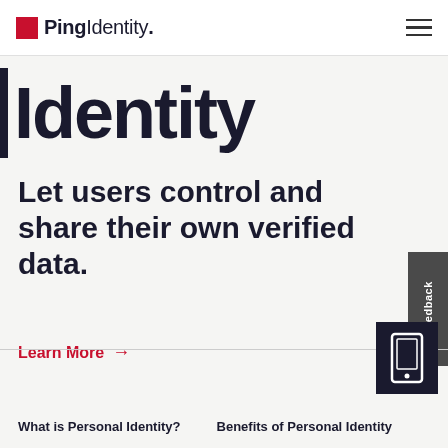PingIdentity.
| Identity
Let users control and share their own verified data.
Learn More →
[Figure (illustration): Feedback tab on right side of page]
[Figure (illustration): Mobile phone icon in dark navy square box]
What is Personal Identity?
Benefits of Personal Identity